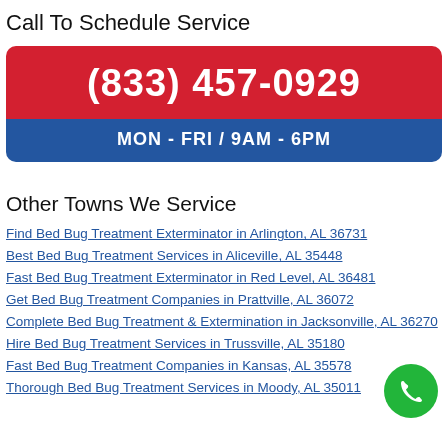Call To Schedule Service
[Figure (infographic): Phone number call box with red background showing (833) 457-0929 and blue bar showing MON - FRI / 9AM - 6PM]
Other Towns We Service
Find Bed Bug Treatment Exterminator in Arlington, AL 36731
Best Bed Bug Treatment Services in Aliceville, AL 35448
Fast Bed Bug Treatment Exterminator in Red Level, AL 36481
Get Bed Bug Treatment Companies in Prattville, AL 36072
Complete Bed Bug Treatment & Extermination in Jacksonville, AL 36270
Hire Bed Bug Treatment Services in Trussville, AL 35180
Fast Bed Bug Treatment Companies in Kansas, AL 35578
Thorough Bed Bug Treatment Services in Moody, AL 35011